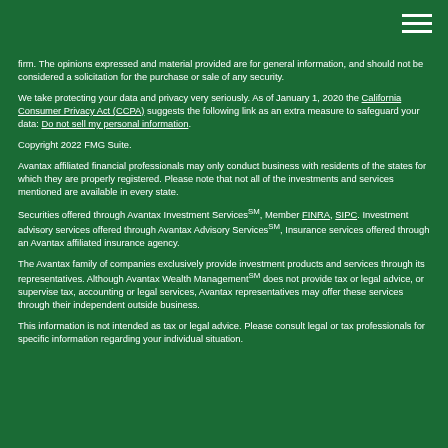firm. The opinions expressed and material provided are for general information, and should not be considered a solicitation for the purchase or sale of any security.
We take protecting your data and privacy very seriously. As of January 1, 2020 the California Consumer Privacy Act (CCPA) suggests the following link as an extra measure to safeguard your data: Do not sell my personal information.
Copyright 2022 FMG Suite.
Avantax affiliated financial professionals may only conduct business with residents of the states for which they are properly registered. Please note that not all of the investments and services mentioned are available in every state.
Securities offered through Avantax Investment ServicesSM, Member FINRA, SIPC. Investment advisory services offered through Avantax Advisory ServicesSM, Insurance services offered through an Avantax affiliated insurance agency.
The Avantax family of companies exclusively provide investment products and services through its representatives. Although Avantax Wealth ManagementSM does not provide tax or legal advice, or supervise tax, accounting or legal services, Avantax representatives may offer these services through their independent outside business.
This information is not intended as tax or legal advice. Please consult legal or tax professionals for specific information regarding your individual situation.